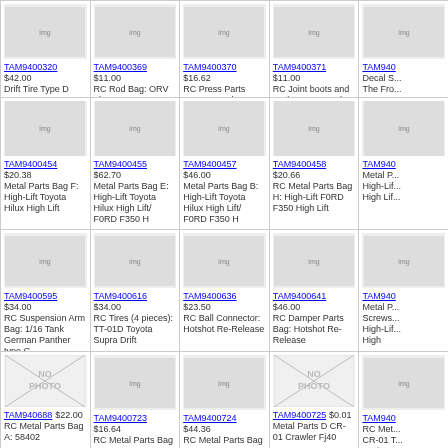| TAM9400320 $42.00 Drift Tire Type D | TAM9400369 $11.00 RC Rod Bag: ORV The Frog | TAM9400370 $16.62 RC Press Parts Bag: ORV The Frog | TAM9400371 $11.00 RC Joint boots and Tool Bag: ORV The Frog | TAM940... Decal S... The Fro... |
| TAM9400454 $20.38 Metal Parts Bag F: High-Lift Toyota Hilux High Lift | TAM9400455 $62.70 Metal Parts Bag E: High-Lift Toyota Hilux High Lift / FORD F350 H | TAM9400457 $46.00 Metal Parts Bag B: High-Lift Toyota Hilux High Lift/ FORD F350 H | TAM9400458 $20.66 RC Metal Parts Bag H: High-Lift FORD F350 High Lift | TAM940... Metal P... High-Lif... High Lif... |
| TAM9400595 $34.00 RC Suspension Arm Bag: 1/16 Tank German Panther type G | TAM9400616 $34.00 RC Tires (4 pieces): TT-01D Toyota Supra Drift | TAM9400636 $23.50 RC Ball Connector: Hotshot Re-Release | TAM9400641 $46.00 RC Damper Parts Bag: Hotshot Re-Release | TAM940... Metal P... Screws... High-Lif... High |
| TAM940688 $22.00 RC Metal Parts Bag A: 58402 | TAM9400723 $16.64 RC Metal Parts Bag B: CR-01 Toyota Land Cruiser | TAM9400724 $44.36 RC Metal Parts Bag C: CR-01 Toyota Land Cruiser | TAM9400725 $0.01 Metal Parts D CR-01 Crawler Fj40 | TAM940... RC Met... CR-01 T... Cruiser... |
| (bottom row partial) |  |  |  |  |